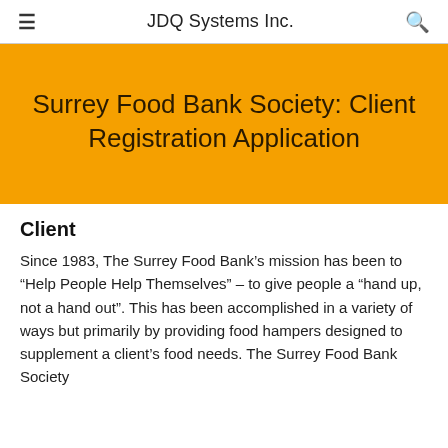JDQ Systems Inc.
Surrey Food Bank Society: Client Registration Application
Client
Since 1983, The Surrey Food Bank’s mission has been to “Help People Help Themselves” – to give people a “hand up, not a hand out”. This has been accomplished in a variety of ways but primarily by providing food hampers designed to supplement a client’s food needs. The Surrey Food Bank Society